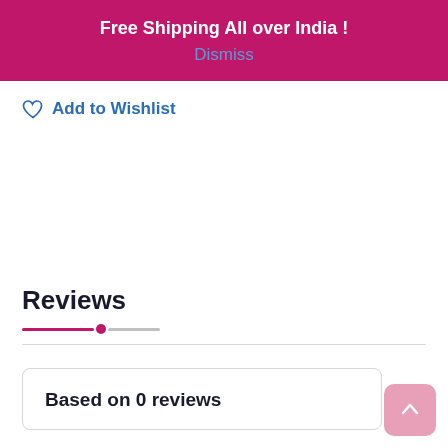Free Shipping All over India !
Dismiss
Add to Wishlist
Reviews
Based on 0 reviews